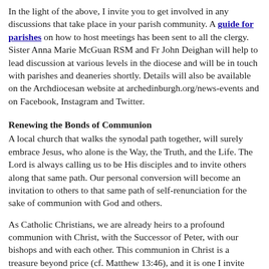In the light of the above, I invite you to get involved in any discussions that take place in your parish community. A guide for parishes on how to host meetings has been sent to all the clergy. Sister Anna Marie McGuan RSM and Fr John Deighan will help to lead discussion at various levels in the diocese and will be in touch with parishes and deaneries shortly. Details will also be available on the Archdiocesan website at archedinburgh.org/news-events and on Facebook, Instagram and Twitter.
Renewing the Bonds of Communion
A local church that walks the synodal path together, will surely embrace Jesus, who alone is the Way, the Truth, and the Life. The Lord is always calling us to be His disciples and to invite others along that same path. Our personal conversion will become an invitation to others to that same path of self-renunciation for the sake of communion with God and others.
As Catholic Christians, we are already heirs to a profound communion with Christ, with the Successor of Peter, with our bishops and with each other. This communion in Christ is a treasure beyond price (cf. Matthew 13:46), and it is one I invite you all to rediscover and to renew in our exchanges with each other over the coming months.
I hope and pray that we will use the opportunity to realise what we